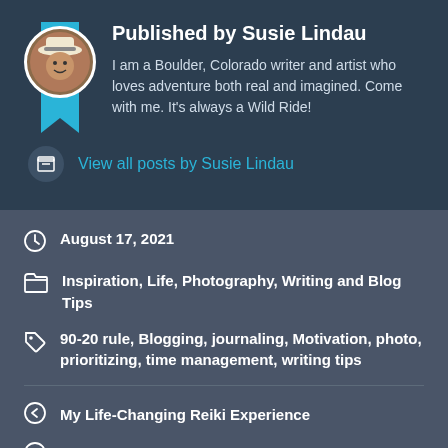Published by Susie Lindau
I am a Boulder, Colorado writer and artist who loves adventure both real and imagined. Come with me. It's always a Wild Ride!
View all posts by Susie Lindau
August 17, 2021
Inspiration, Life, Photography, Writing and Blog Tips
90-20 rule, Blogging, journaling, Motivation, photo, prioritizing, time management, writing tips
My Life-Changing Reiki Experience
On Secrets and Personal Domestic Suspense